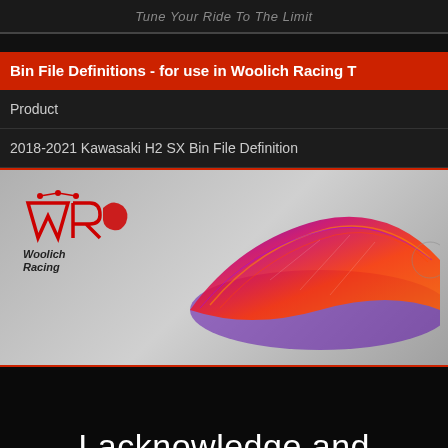Tune Your Ride To The Limit
Bin File Definitions - for use in Woolich Racing T
Product
2018-2021 Kawasaki H2 SX Bin File Definition
[Figure (illustration): Woolich Racing logo with a 3D surface/map visualization showing a colorful heat-map style tuning surface in red, purple, and blue gradients over a grey background]
I acknowledge and